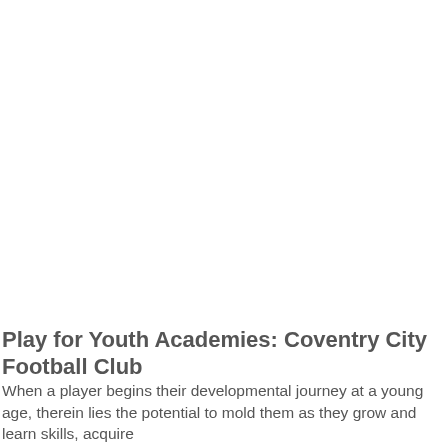Play for Youth Academies: Coventry City Football Club
When a player begins their developmental journey at a young age, therein lies the potential to mold them as they grow and learn skills, acquire